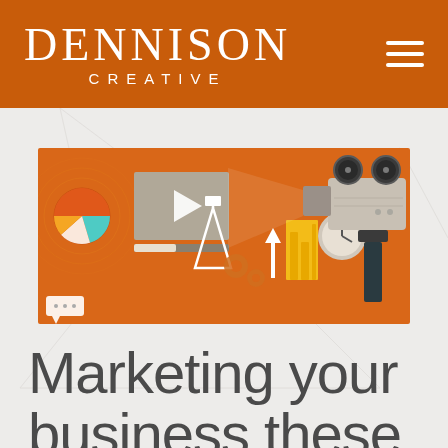DENNISON CREATIVE
[Figure (illustration): Orange background marketing illustration showing a film/movie camera, pie chart, video play button, bar chart, arrow, clock, camera equipment, tripod, gears, and speech bubble icons — representing various marketing and media concepts in a flat design style.]
Marketing your business these days is hard work